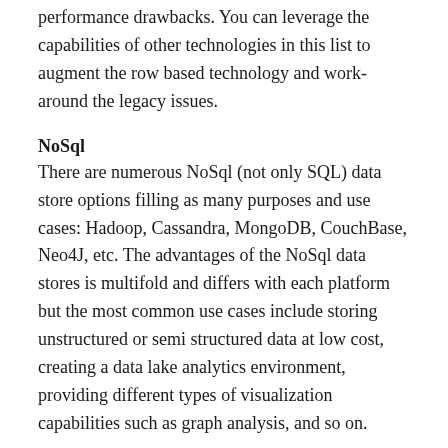performance drawbacks. You can leverage the capabilities of other technologies in this list to augment the row based technology and work-around the legacy issues.
NoSql
There are numerous NoSql (not only SQL) data store options filling as many purposes and use cases: Hadoop, Cassandra, MongoDB, CouchBase, Neo4J, etc. The advantages of the NoSql data stores is multifold and differs with each platform but the most common use cases include storing unstructured or semi structured data at low cost, creating a data lake analytics environment, providing different types of visualization capabilities such as graph analysis, and so on.
Streaming Data & Message Queues
It is becoming increasingly important to provide